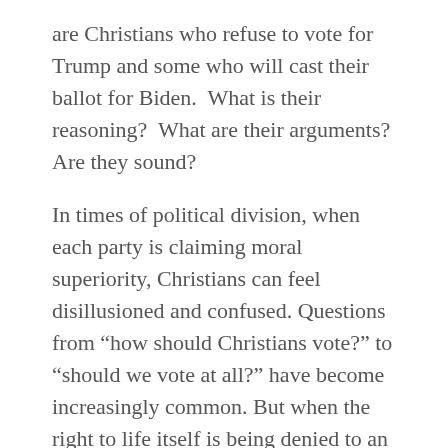are Christians who refuse to vote for Trump and some who will cast their ballot for Biden.  What is their reasoning?  What are their arguments? Are they sound?
In times of political division, when each party is claiming moral superiority, Christians can feel disillusioned and confused. Questions from “how should Christians vote?” to “should we vote at all?” have become increasingly common. But when the right to life itself is being denied to an entire group by one political party, Christians must vote for LIFE!
On today’s episode, Mark interviews Seth